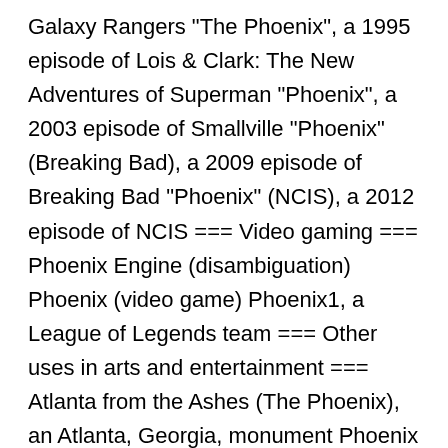Galaxy Rangers "The Phoenix", a 1995 episode of Lois & Clark: The New Adventures of Superman "Phoenix", a 2003 episode of Smallville "Phoenix" (Breaking Bad), a 2009 episode of Breaking Bad "Phoenix" (NCIS), a 2012 episode of NCIS === Video gaming === Phoenix Engine (disambiguation) Phoenix (video game) Phoenix1, a League of Legends team === Other uses in arts and entertainment === Atlanta from the Ashes (The Phoenix), an Atlanta, Georgia, monument Phoenix Art Museum, the Southwest United States' largest art museum for visual art Phoenix (chess), a fairy chess piece Phoenix (roller coaster) Phoenix, a Looping Starship ride at Busch Gardens Tampa Bay == Business == In business, generally: Phoenix company, a commercial entity which has emerged from